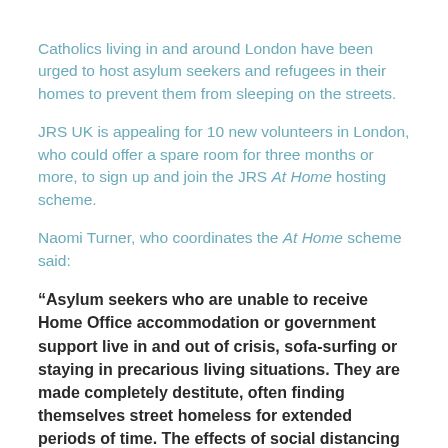Catholics living in and around London have been urged to host asylum seekers and refugees in their homes to prevent them from sleeping on the streets.
JRS UK is appealing for 10 new volunteers in London, who could offer a spare room for three months or more, to sign up and join the JRS At Home hosting scheme.
Naomi Turner, who coordinates the At Home scheme said:
“Asylum seekers who are unable to receive Home Office accommodation or government support live in and out of crisis, sofa-surfing or staying in precarious living situations. They are made completely destitute, often finding themselves street homeless for extended periods of time. The effects of social distancing during the Coronavirus pandemic have only exacerbated these already desperate circumstances.